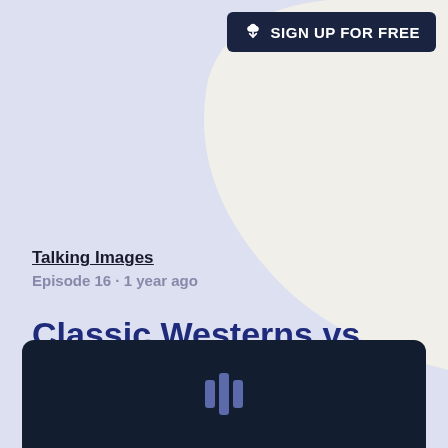[Figure (logo): Sign up for free button with Scribd/Spotify-style logo in dark navy background, top-right corner]
Talking Images
Episode 16 · 1 year ago
Classic Westerns vs Spaghetti Westerns
[Figure (other): Dark navy audio player panel with waveform/podcast icon in center, at bottom of page]